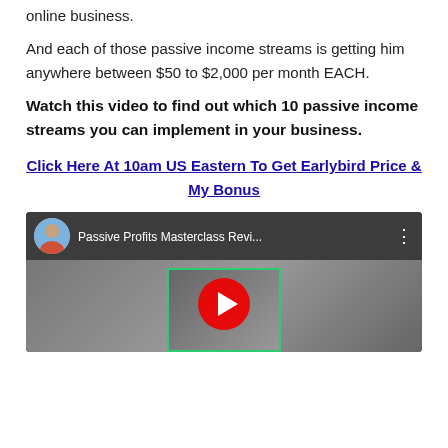online business.
And each of those passive income streams is getting him anywhere between $50 to $2,000 per month EACH.
Watch this video to find out which 10 passive income streams you can implement in your business.
Click Here At 10am US Eastern To Get Earlybird Price & My Bonus
[Figure (screenshot): YouTube video thumbnail showing 'Passive Profits Masterclass Revi...' with a male avatar, green channel banner, and red YouTube play button over a blurred screenshot of a website.]